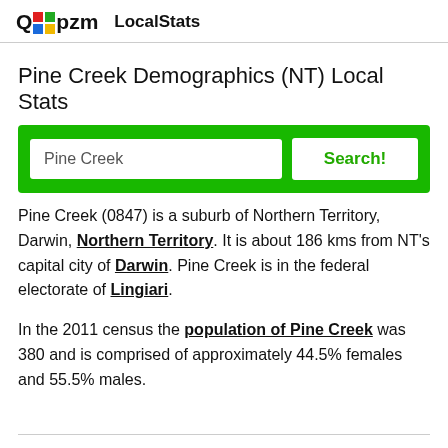Qpzm LocalStats
Pine Creek Demographics (NT) Local Stats
[Figure (other): Search box with text input showing 'Pine Creek' and a green Search! button, inside a green bordered container]
Pine Creek (0847) is a suburb of Northern Territory, Darwin, Northern Territory. It is about 186 kms from NT's capital city of Darwin. Pine Creek is in the federal electorate of Lingiari.
In the 2011 census the population of Pine Creek was 380 and is comprised of approximately 44.5% females and 55.5% males.